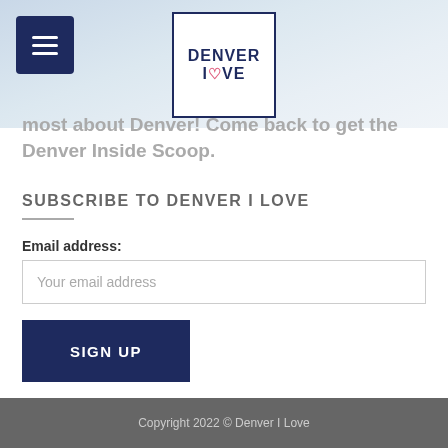[Figure (logo): Denver I Love logo — square border with DENVER on top and I LOVE below with a heart replacing the O in LOVE]
most about Denver! Come back to get the Denver Inside Scoop.
SUBSCRIBE TO DENVER I LOVE
Email address:
Your email address
SIGN UP
Copyright 2022 © Denver I Love